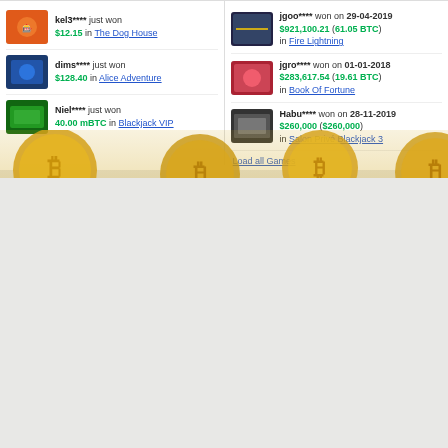kel3**** just won $12.15 in The Dog House
dims**** just won $128.40 in Alice Adventure
Niel**** just won 40.00 mBTC in Blackjack VIP
jgoo**** won on 29-04-2019 $921,100.21 (61.05 BTC) in Fire Lightning
jgro**** won on 01-01-2018 $283,617.54 (19.61 BTC) in Book Of Fortune
Habu**** won on 28-11-2019 $260,000 ($260,000) in Salon Privé Blackjack 3
Load all Games